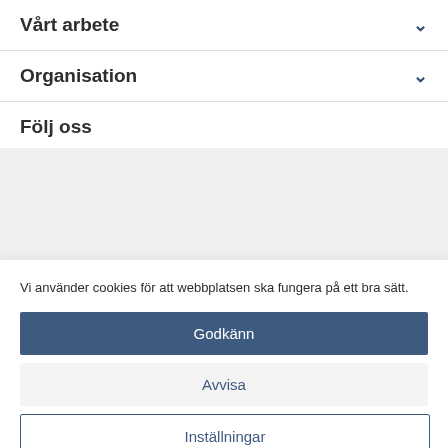Vårt arbete
Organisation
Följ oss
Vi använder cookies för att webbplatsen ska fungera på ett bra sätt.
Godkänn
Avvisa
Inställningar
Cookiepolicy